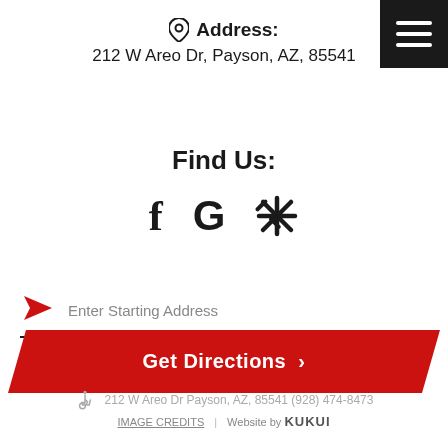Address: 212 W Areo Dr, Payson, AZ, 85541
Find Us:
[Figure (other): Social media icons: Facebook (f), Google (G), Yelp (*)]
Enter Starting Address
Get Directions >
212 W Areo Dr Payson, AZ, 85541 (928) 474-8473
IMAGE CREDITS | Website by KUKUI